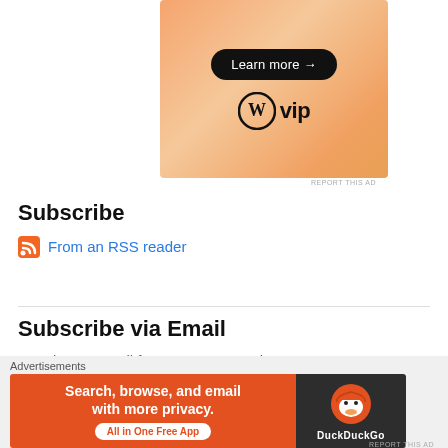[Figure (illustration): WordPress VIP advertisement banner with orange gradient background, 'Learn more →' button in black rounded pill, and WordPress W logo with 'vip' text]
REPORT THIS AD
Subscribe
From an RSS reader
Subscribe via Email
Receive an email for every new posting.
Advertisements
[Figure (illustration): DuckDuckGo advertisement banner: orange left panel with 'Search, browse, and email with more privacy. All in One Free App' and dark right panel with DuckDuckGo duck logo and name]
REPORT THIS AD